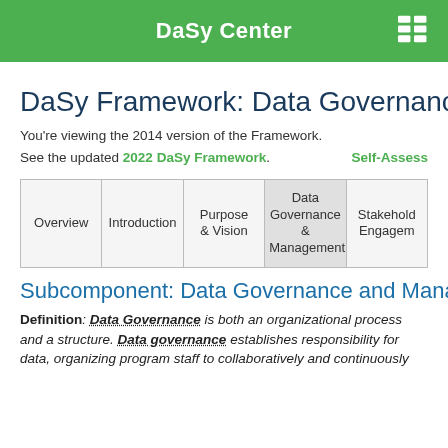DaSy Center
DaSy Framework: Data Governance
You're viewing the 2014 version of the Framework. See the updated 2022 DaSy Framework. Self-Assess
| Overview | Introduction | Purpose & Vision | Data Governance & Management | Stakeholder Engagement |
| --- | --- | --- | --- | --- |
|  |
Subcomponent: Data Governance and Management
Definition: Data Governance is both an organizational process and a structure. Data governance establishes responsibility for data, organizing program staff to collaboratively and continuously